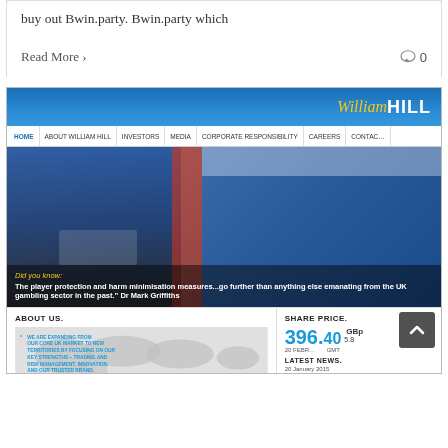buy out Bwin.party. Bwin.party which
Read More >
0
[Figure (screenshot): Screenshot of William Hill official website showing header with logo, navigation bar (HOME, ABOUT WILLIAM HILL, INVESTORS, MEDIA, CORPORATE RESPONSIBILITY, CAREERS, CONTACT), hero image of a man in blue shirt at a betting board, quote overlay 'Did you know: The player protection and harm minimisation measures...go further than anything else emanating from the UK gambling sector in the past. Dr Mark Griffiths', ABOUT US section with world map and quote 'WE ARE EXPANDING FROM OUR CORE UK MARKET TO NEW TERRITORIES BY FOCUSING ON OUR KEY STRENGTHS – TRADING AND RISK MANAGEMENT, INNOVATION, AND OUR TRUSTED BRAND', and SHARE PRICE section showing 396.40 GBp, 20 February, 5.8, LATEST NEWS, 20 January 2015, Post-close Trading Update]